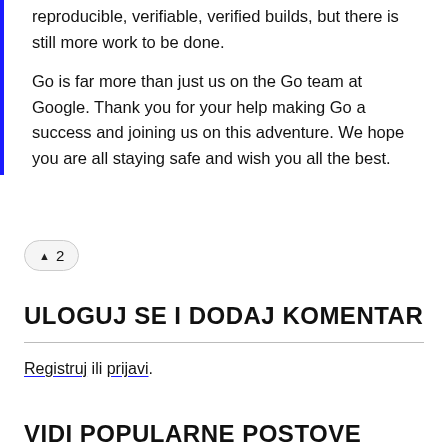reproducible, verifiable, verified builds, but there is still more work to be done.
Go is far more than just us on the Go team at Google. Thank you for your help making Go a success and joining us on this adventure. We hope you are all staying safe and wish you all the best.
▲ 2
ULOGUJ SE I DODAJ KOMENTAR
Registruj ili prijavi.
VIDI POPULARNE POSTOVE